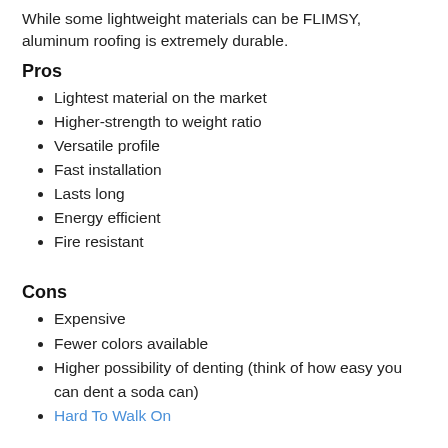While some lightweight materials can be FLIMSY, aluminum roofing is extremely durable.
Pros
Lightest material on the market
Higher-strength to weight ratio
Versatile profile
Fast installation
Lasts long
Energy efficient
Fire resistant
Cons
Expensive
Fewer colors available
Higher possibility of denting (think of how easy you can dent a soda can)
Hard To Walk On